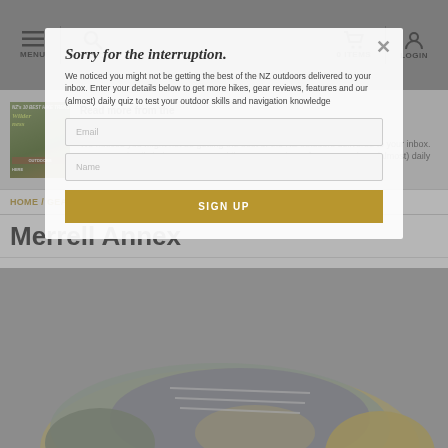MENU | SEARCH | 0 ITEMS | LOGIN
[Figure (screenshot): Wilderness magazine cover thumbnail with outdoor/hiking theme]
Read more from the January 2016 Issue. We noticed you might not be getting the best of the NZ outdoors delivered to your inbox. Enter your details below to get more hikes, gear reviews, features and our (almost) daily quiz to test your outdoor skills and navigation knowledge.
HOME / GEAR REVIEWS / FOOTWEAR / HIKING SHOES
Merrell Annex
[Figure (photo): Close-up photo of a Merrell Annex hiking shoe in grey and tan/gold colorway]
Sorry for the interruption.
Email
Name
SIGN UP